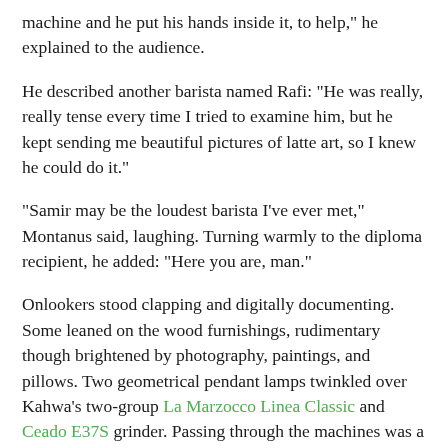machine and he put his hands inside it, to help," he explained to the audience.
He described another barista named Rafi: “He was really, really tense every time I tried to examine him, but he kept sending me beautiful pictures of latte art, so I knew he could do it.”
“Samir may be the loudest barista I’ve ever met,” Montanus said, laughing. Turning warmly to the diploma recipient, he added: “Here you are, man.”
Onlookers stood clapping and digitally documenting. Some leaned on the wood furnishings, rudimentary though brightened by photography, paintings, and pillows. Two geometrical pendant lamps twinkled over Kahwa’s two-group La Marzocco Linea Classic and Ceado E37S grinder. Passing through the machines was a seemingly bottomless supply of Bocca’s Fatima espresso, washed Catuai and Bourbon beans